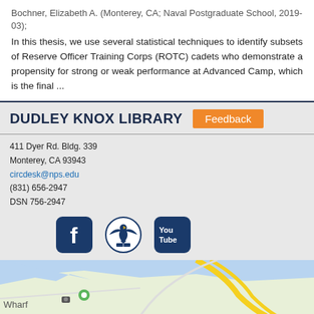Bochner, Elizabeth A. (Monterey, CA; Naval Postgraduate School, 2019-03);
In this thesis, we use several statistical techniques to identify subsets of Reserve Officer Training Corps (ROTC) cadets who demonstrate a propensity for strong or weak performance at Advanced Camp, which is the final ...
DUDLEY KNOX LIBRARY
Feedback
411 Dyer Rd. Bldg. 339
Monterey, CA 93943
circdesk@nps.edu
(831) 656-2947
DSN 756-2947
[Figure (logo): Facebook logo icon - dark blue rounded square with white F]
[Figure (logo): NPS library circular logo with eagle/bird motif in dark blue]
[Figure (logo): YouTube logo icon - dark blue rounded square with You/Tube text]
[Figure (map): Google Maps partial view showing Monterey CA area near Fisherman's Wharf with road overlays]